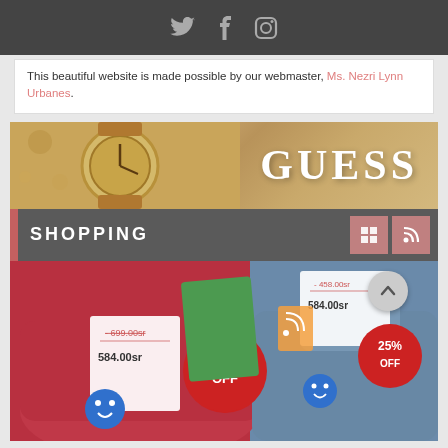Social media icons: Twitter, Facebook, Instagram
This beautiful website is made possible by our webmaster, Ms. Nezri Lynn Urbanes.
[Figure (photo): GUESS brand banner with gold watch and luxury accessories on the left, large white GUESS text on the right against a warm golden-brown background]
SHOPPING
[Figure (photo): Shopping image showing red and blue upholstered chairs/sofas with price tags showing 584.00 and 25% OFF sale stickers, and a second 25% OFF sticker on the blue sofa]